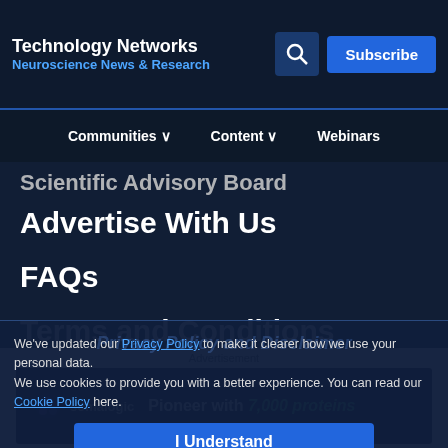Technology Networks
Neuroscience News & Research
Communities ∨   Content ∨   Webinars
Scientific Advisory Board
Advertise With Us
FAQs
Terms and Conditions
We've updated our Privacy Policy to make it clearer how we use your personal data.
We use cookies to provide you with a better experience. You can read our Cookie Policy here.
I Understand
©2022 Technology Networks. All rights reserved.
Part of the LabX Media Group
Advertisement
[Figure (other): Somalogic advertisement banner: 'Pioneer with 7,000 proteins' on dark background]